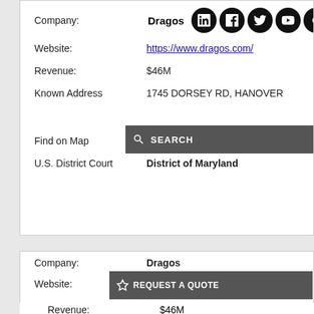Company: Dragos
Website: https://www.dragos.com/
Revenue: $46M
Known Address 1745 DORSEY RD, HANOVER
Find on Map https://www.google.com/maps...
U.S. District Court District of Maryland
Company: Dragos
Website: https://www.dragos.com/
Revenue: $46M